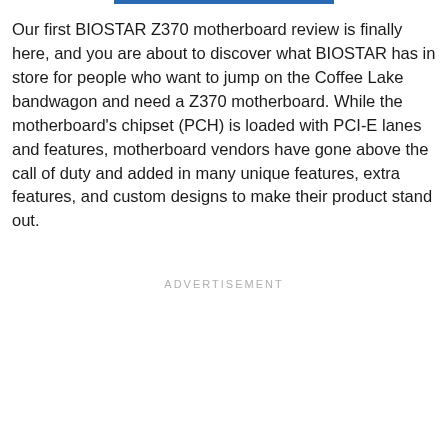Our first BIOSTAR Z370 motherboard review is finally here, and you are about to discover what BIOSTAR has in store for people who want to jump on the Coffee Lake bandwagon and need a Z370 motherboard. While the motherboard's chipset (PCH) is loaded with PCI-E lanes and features, motherboard vendors have gone above the call of duty and added in many unique features, extra features, and custom designs to make their product stand out.
ADVERTISEMENT